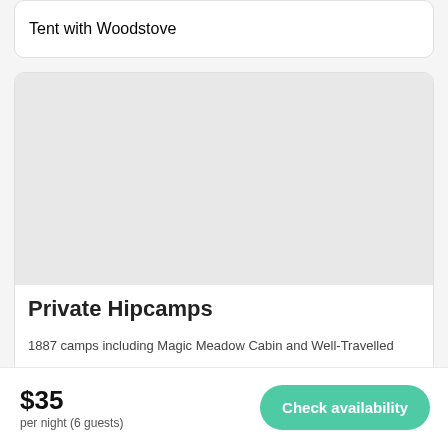Tent with Woodstove
[Figure (photo): Gray placeholder image for a camp listing photo]
Private Hipcamps
1887 camps including Magic Meadow Cabin and Well-Travelled
$35 per night (6 guests)
Check availability